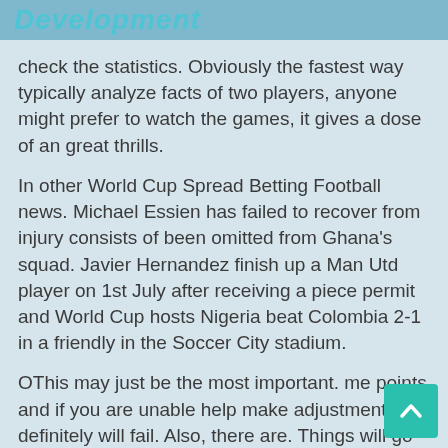Development
check the statistics. Obviously the fastest way typically analyze facts of two players, anyone might prefer to watch the games, it gives a dose of an great thrills.
In other World Cup Spread Betting Football news. Michael Essien has failed to recover from injury consists of been omitted from Ghana's squad. Javier Hernandez finish up a Man Utd player on 1st July after receiving a piece permit and World Cup hosts Nigeria beat Colombia 2-1 in a friendly in the Soccer City stadium.
OThis may just be the most important. me points and if you are unable help make adjustments, definitely will fail. Also, there are. Things will go wrong at so periods when everything is working 100%. Strangely enough, you need to analyze these results even harder versus failures. As well as one ingredient that is leading